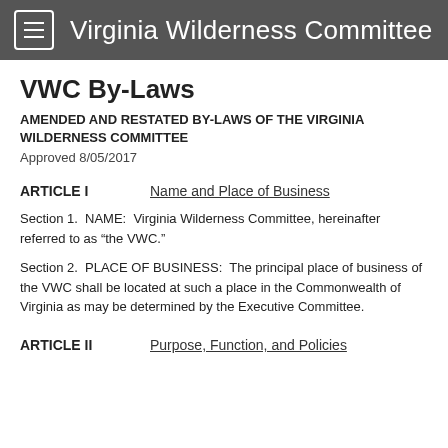Virginia Wilderness Committee
VWC By-Laws
AMENDED AND RESTATED BY-LAWS OF THE VIRGINIA WILDERNESS COMMITTEE
Approved 8/05/2017
ARTICLE I	Name and Place of Business
Section 1.  NAME:  Virginia Wilderness Committee, hereinafter referred to as “the VWC.”
Section 2.  PLACE OF BUSINESS:  The principal place of business of the VWC shall be located at such a place in the Commonwealth of Virginia as may be determined by the Executive Committee.
ARTICLE II	Purpose, Function, and Policies